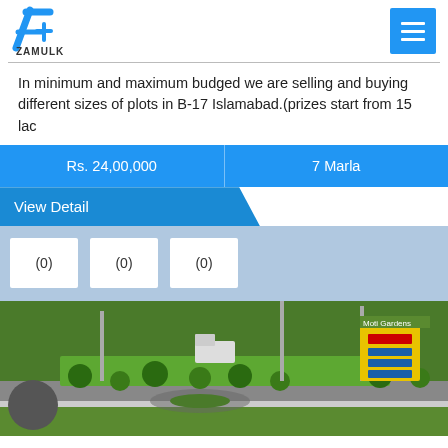[Figure (logo): Zamulk logo with stylized blue Z/M mark and text ZAMULK below]
In minimum and maximum budged we are selling and buying different sizes of plots in B-17 Islamabad.(prizes start from 15 lac
Rs. 24,00,000	7 Marla
View Detail
(0)  (0)  (0)
[Figure (photo): Aerial view of a green landscaped area in B-17 Islamabad with roads, trees, signboards and street lights]